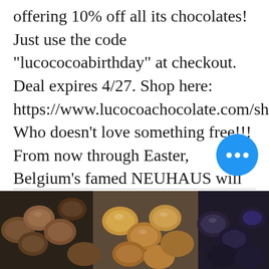offering 10% off all its chocolates! Just use the code "lucococoabirthday" at checkout. Deal expires 4/27. Shop here: https://www.lucocoachocolate.com/shop. Who doesn't love something free!!! From now through Easter, Belgium's famed NEUHAUS will include a complimentary gift of their Easter Eggs Long Box. No promo code needed. Free ground shipping also provided thru 3/31. How amazing is that? Shop here: https://w
[Figure (photo): Photo of assorted chocolates — round chocolate truffles and bonbons in various shades of brown, gold, and dark chocolate, partially visible at the bottom of the page]